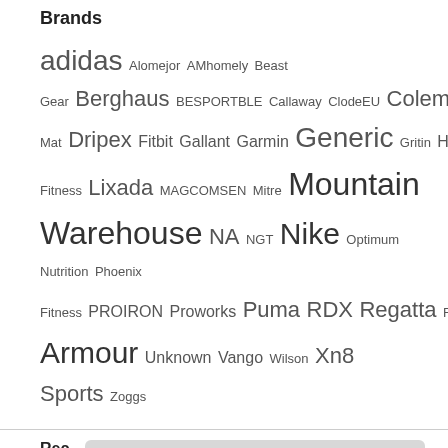Brands
adidas Alomejor AMhomely Beast Gear Berghaus BESPORTBLE Callaway ClodeEU Coleman ComFy Mat Dripex Fitbit Gallant Garmin Generic Gritin HOMCOM JLL Fitness Lixada MAGCOMSEN Mitre Mountain Warehouse NA NGT Nike Optimum Nutrition Phoenix Fitness PROIRON Proworks Puma RDX Regatta ROCKBROS Speedo TACVASEN Tbest Trespass Ultrasport UMI Under Armour Unknown Vango Wilson Xn8 Sports Zoggs
Rec
As an Amazon Associate I earn from qualifying purchases. This website uses the only necessary cookies to ensure you get the best experience on our website. More information